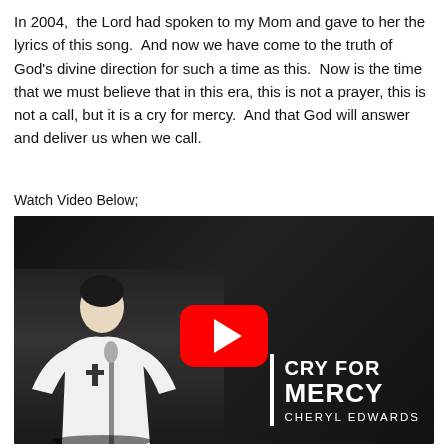In 2004,  the Lord had spoken to my Mom and gave to her the lyrics of this song.  And now we have come to the truth of God's divine direction for such a time as this.  Now is the time that we must believe that in this era, this is not a prayer, this is not a call, but it is a cry for mercy.  And that God will answer and deliver us when we call.
Watch Video Below;
[Figure (screenshot): YouTube video thumbnail for 'Cry For Mercy By Cheryl Edwards' showing a woman in a white dress holding a microphone stand with a cross, with CRY FOR MERCY CHERYL EDWARDS text overlay and YouTube play button]